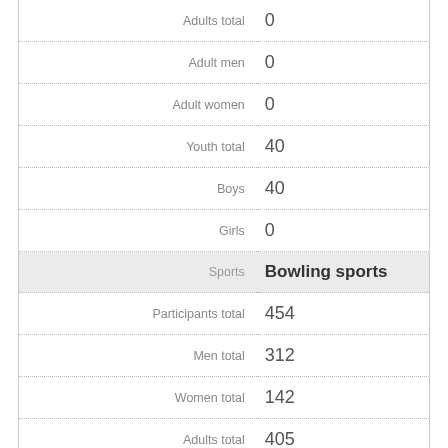| Label | Value |
| --- | --- |
| Adults total | 0 |
| Adult men | 0 |
| Adult women | 0 |
| Youth total | 40 |
| Boys | 40 |
| Girls | 0 |
| Sports | Bowling sports |
| Participants total | 454 |
| Men total | 312 |
| Women total | 142 |
| Adults total | 405 |
| Adult men | 286 |
| Adult women | 119 |